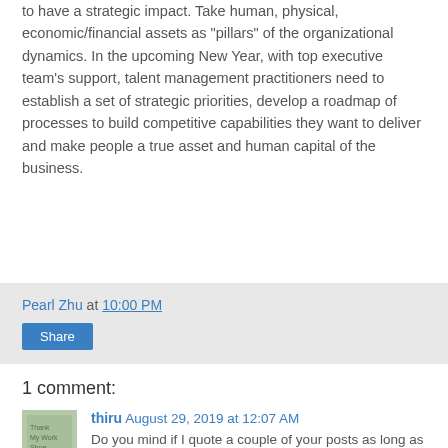to have a strategic impact. Take human, physical, economic/financial assets as "pillars" of the organizational dynamics. In the upcoming New Year, with top executive team's support, talent management practitioners need to establish a set of strategic priorities, develop a roadmap of processes to build competitive capabilities they want to deliver and make people a true asset and human capital of the business.
Pearl Zhu at 10:00 PM
Share
1 comment:
thiru August 29, 2019 at 12:07 AM
Do you mind if I quote a couple of your posts as long as I provide credit and sources back to your blog? My blog is